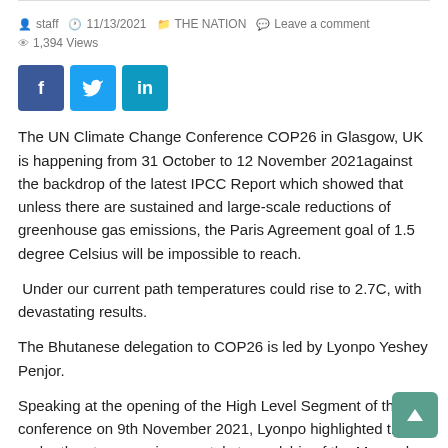staff  11/13/2021  THE NATION  Leave a comment  1,394 Views
[Figure (other): Social sharing buttons: Facebook (f), Twitter (bird icon), LinkedIn (in)]
The UN Climate Change Conference COP26 in Glasgow, UK is happening from 31 October to 12 November 2021against the backdrop of the latest IPCC Report which showed that unless there are sustained and large-scale reductions of greenhouse gas emissions, the Paris Agreement goal of 1.5 degree Celsius will be impossible to reach.
Under our current path temperatures could rise to 2.7C, with devastating results.
The Bhutanese delegation to COP26 is led by Lyonpo Yeshey Penjor.
Speaking at the opening of the High Level Segment of the conference on 9th November 2021, Lyonpo highlighted that under the strong environmental stewardship of the Monarchs,